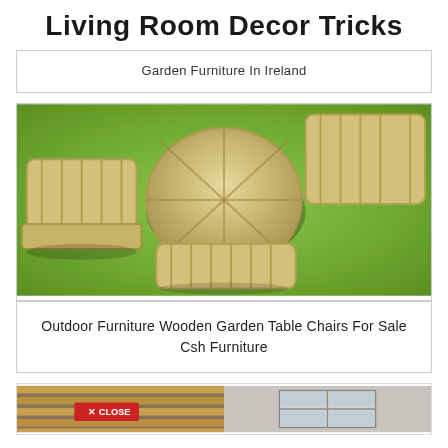Living Room Decor Tricks
Garden Furniture In Ireland
[Figure (photo): Outdoor wooden garden furniture set consisting of a round table and four wooden slat chairs arranged on green grass, viewed from above.]
Outdoor Furniture Wooden Garden Table Chairs For Sale Csh Furniture
[Figure (photo): Bottom strip showing partial images: left half shows wooden slats (bench/furniture detail), right half shows a white window on a wall. A red CLOSE button overlay is visible.]